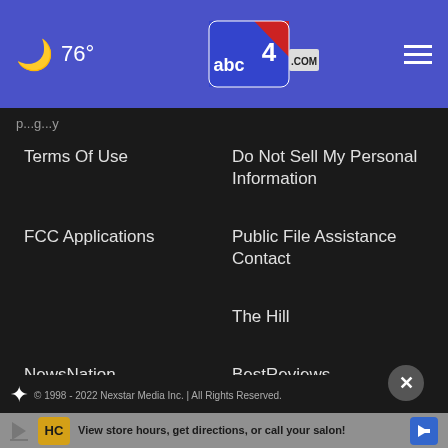🌙 76° | abc4.com | ≡
...p...q...y
Terms Of Use
Do Not Sell My Personal Information
FCC Applications
Public File Assistance Contact
The Hill
NewsNation
BestReviews
Content Licensing
Nexstar Digital
© 1998 - 2022 Nexstar Media Inc. | All Rights Reserved.
[Figure (infographic): Advertisement banner: View store hours, get directions, or call your salon! with HC logo and navigation arrow icon]